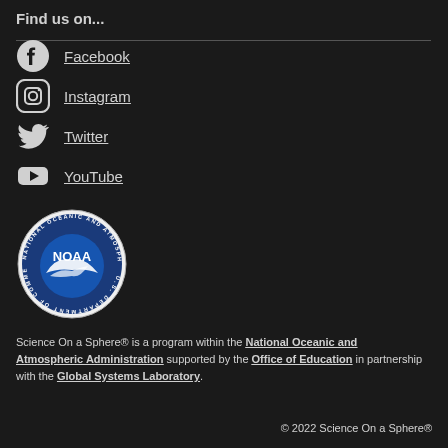Find us on...
Facebook
Instagram
Twitter
YouTube
[Figure (logo): NOAA - National Oceanic and Atmospheric Administration, U.S. Department of Commerce seal]
Science On a Sphere® is a program within the National Oceanic and Atmospheric Administration supported by the Office of Education in partnership with the Global Systems Laboratory.
© 2022 Science On a Sphere®